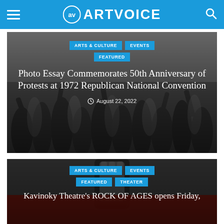ARTVOICE
[Figure (photo): Black and white photo of a crowd at a protest, people raising fists]
ARTS & CULTURE  EVENTS  FEATURED
Photo Essay Commemorates 50th Anniversary of Protests at 1972 Republican National Convention
August 22, 2022
[Figure (photo): Black and white photo of a raised fist, with dark red background at bottom]
ARTS & CULTURE  EVENTS  FEATURED  THEATER
Kavinoky Theatre's ROCK OF AGES opens Friday,